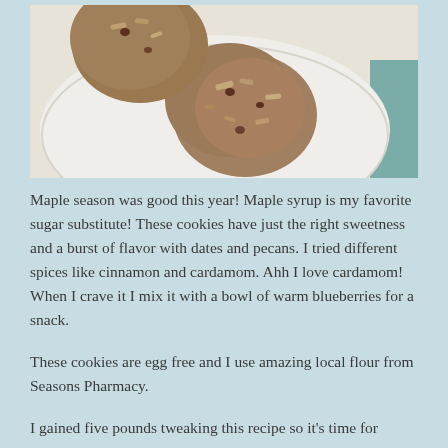[Figure (photo): Photo of oatmeal cookies with dates and pecans on a white plate, viewed from above, on a teal/green background.]
Maple season was good this year! Maple syrup is my favorite sugar substitute! These cookies have just the right sweetness and a burst of flavor with dates and pecans. I tried different spices like cinnamon and cardamom. Ahh I love cardamom! When I crave it I mix it with a bowl of warm blueberries for a snack.
These cookies are egg free and I use amazing local flour from Seasons Pharmacy.
I gained five pounds tweaking this recipe so it's time for